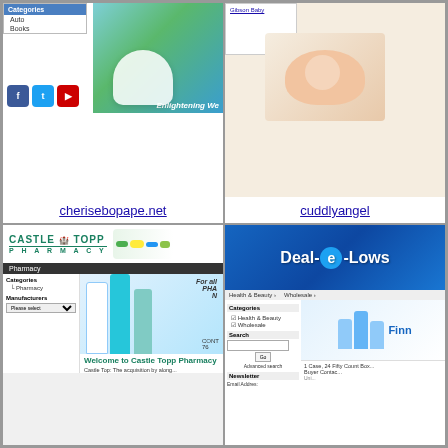[Figure (screenshot): Screenshot of cherisebopape.net website showing categories sidebar with Auto, Books items, social media icons (Facebook, Twitter, YouTube), and a banner with a white chair on blue/green background with text 'Enlightening We']
cherisebopape.net
[Figure (screenshot): Screenshot of cuddlyangel website showing a baby products site with a sleeping baby photo and a navigation box with 'Gibson Baby' link]
cuddlyangel
[Figure (screenshot): Screenshot of Castle Topp Pharmacy website showing the pharmacy logo with green castle icon, pills image, navigation bar, sidebar with Categories (Pharmacy) and Manufacturers (Please select), and main content with medical professionals photo and 'For All Pha...' text and 'Welcome to Castle Topp Pharmacy' heading]
[Figure (screenshot): Screenshot of Deal-e-Lows website showing blue banner logo 'Deal-e-Lows', navigation bar with Health & Beauty, Wholesale links, categories sidebar with Health & Beauty and Wholesale items, search box with Go button and Advanced search, Newsletter section, and main area with 'Finn' text and people figures, plus product text '1 Case, 24 Fifty Count Box... Buyer Contac...']